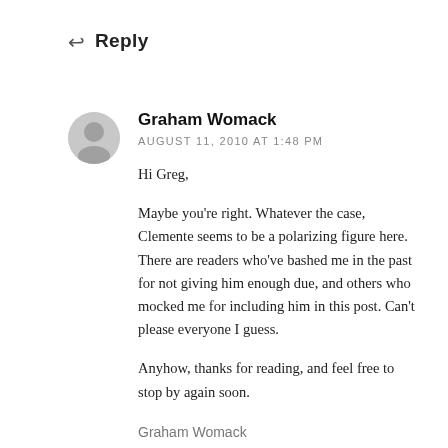← Reply
Graham Womack
AUGUST 11, 2010 AT 1:48 PM

Hi Greg,

Maybe you're right. Whatever the case, Clemente seems to be a polarizing figure here. There are readers who've bashed me in the past for not giving him enough due, and others who mocked me for including him in this post. Can't please everyone I guess.

Anyhow, thanks for reading, and feel free to stop by again soon.
Graham Womack